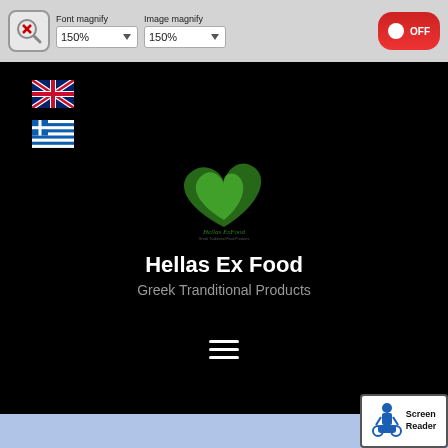[Figure (screenshot): Accessibility toolbar with magnify controls showing 150% font magnify, 150% image magnify, and an OFF toggle button]
[Figure (logo): UK flag icon for English language selection]
[Figure (logo): Greek flag icon for Greek language selection]
[Figure (logo): Hellas Ex Food logo with green leaf heart design and script text]
Hellas Ex Food
Greek Tranditional Products
[Figure (other): Hamburger menu icon (three horizontal lines)]
[Figure (other): Screen Reader accessibility badge with wheelchair icon]